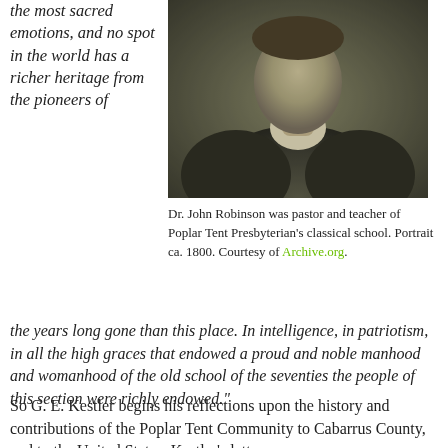the most sacred emotions, and no spot in the world has a richer heritage from the pioneers of
[Figure (photo): Sepia-toned portrait photograph of Dr. John Robinson, ca. 1800, showing a man in dark coat with white collar.]
Dr. John Robinson was pastor and teacher of Poplar Tent Presbyterian's classical school. Portrait ca. 1800. Courtesy of Archive.org.
the years long gone than this place. In intelligence, in patriotism, in all the high graces that endowed a proud and noble manhood and womanhood of the old school of the seventies the people of this section were richly endowed."
So G. E. Kestler begins his reflections upon the history and contributions of the Poplar Tent Community to Cabarrus County, and to the United States. Kestler's letter